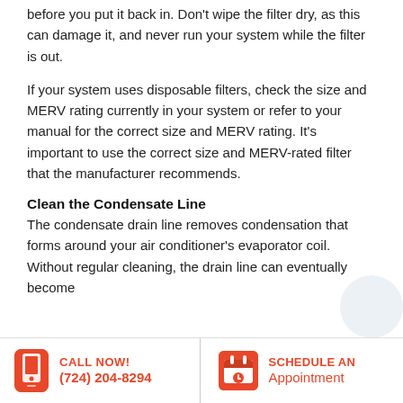before you put it back in. Don't wipe the filter dry, as this can damage it, and never run your system while the filter is out.
If your system uses disposable filters, check the size and MERV rating currently in your system or refer to your manual for the correct size and MERV rating. It's important to use the correct size and MERV-rated filter that the manufacturer recommends.
Clean the Condensate Line
The condensate drain line removes condensation that forms around your air conditioner's evaporator coil. Without regular cleaning, the drain line can eventually become
CALL NOW! (724) 204-8294   SCHEDULE AN Appointment